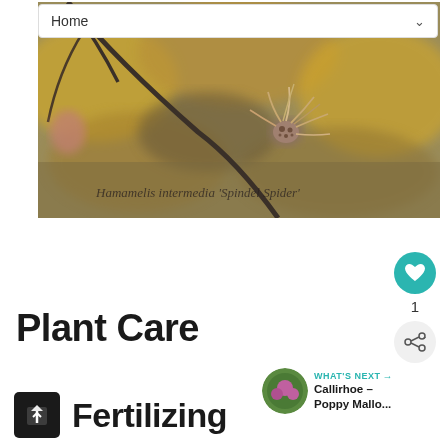[Figure (screenshot): Navigation bar with 'Home' text and dropdown chevron]
[Figure (photo): Close-up photograph of Hamamelis intermedia 'Spindel Spider' witch hazel branch with spidery flower blooms against blurred autumn background, with italic script watermark text 'Hamamelis intermedia Spindel Spider']
Plant Care
[Figure (infographic): Heart/like button (teal circle with heart icon) showing count of 1, and share button below it]
[Figure (infographic): WHAT'S NEXT arrow with circular thumbnail of pink flower and text 'Callirhoe – Poppy Mallo...']
Fertilizing